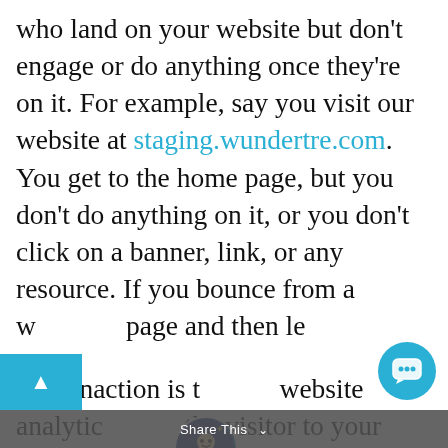who land on your website but don't engage or do anything once they're on it. For example, say you visit our website at staging.wundertre.com. You get to the home page, but you don't do anything on it, or you don't click on a banner, link, or any resource. If you bounce from a w[ebsite is when you visit a ]page and then le[ave…]
This inaction is t[he 'bounce' in website analytic[s…] the visitor to your website clicks on a link to visit another page on your website, they are not considered someone who has bounced from your
[Figure (screenshot): Chat widget popup overlay showing avatar icon at top, close X button, and message: 'Hey! 👋 Are you ready to solve your business' branding & marketing problems?']